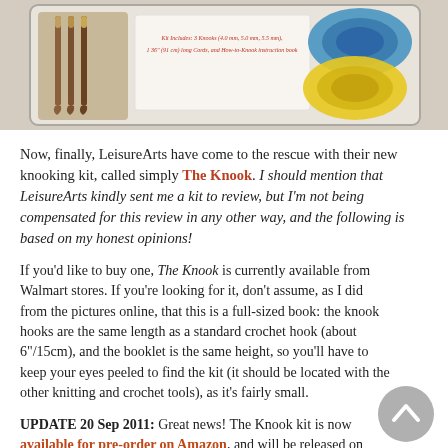[Figure (photo): Photo of a knooking kit in clear plastic blister packaging, showing crochet hooks and colorful yarn (blue and yellow), with red italic text listing kit contents on a white insert card.]
Now, finally, LeisureArts have come to the rescue with their new knooking kit, called simply The Knook. I should mention that LeisureArts kindly sent me a kit to review, but I'm not being compensated for this review in any other way, and the following is based on my honest opinions!
If you'd like to buy one, The Knook is currently available from Walmart stores. If you're looking for it, don't assume, as I did from the pictures online, that this is a full-sized book: the knook hooks are the same length as a standard crochet hook (about 6"/15cm), and the booklet is the same height, so you'll have to keep your eyes peeled to find the kit (it should be located with the other knitting and crochet tools), as it's fairly small.
UPDATE 20 Sep 2011: Great news! The Knook kit is now available for pre-order on Amazon, and will be released on October 1st 🙂